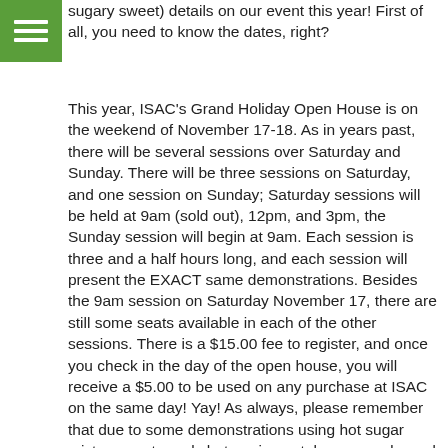[Figure (other): Green square menu/hamburger icon with three white horizontal lines]
sugary sweet) details on our event this year! First of all, you need to know the dates, right?
This year, ISAC's Grand Holiday Open House is on the weekend of November 17-18. As in years past, there will be several sessions over Saturday and Sunday. There will be three sessions on Saturday, and one session on Sunday; Saturday sessions will be held at 9am (sold out), 12pm, and 3pm, the Sunday session will begin at 9am. Each session is three and a half hours long, and each session will present the EXACT same demonstrations. Besides the 9am session on Saturday November 17, there are still some seats available in each of the other sessions. There is a $15.00 fee to register, and once you check in the day of the open house, you will receive a $5.00 to be used on any purchase at ISAC on the same day! Yay! As always, please remember that due to some demonstrations using hot sugar mixtures, extremely hot equipment, large crowds, and for the safety, comfort and enjoyment for everyone, we ask that small children and babies in strollers not attend the